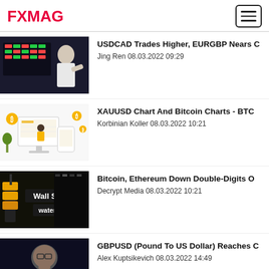FXMAG
USDCAD Trades Higher, EURGBP Nears C
Jing Ren 08.03.2022 09:29
XAUUSD Chart And Bitcoin Charts - BTC
Korbinian Koller 08.03.2022 10:21
Bitcoin, Ethereum Down Double-Digits O
Decrypt Media 08.03.2022 10:21
GBPUSD (Pound To US Dollar) Reaches C
Alex Kuptsikevich 08.03.2022 14:49